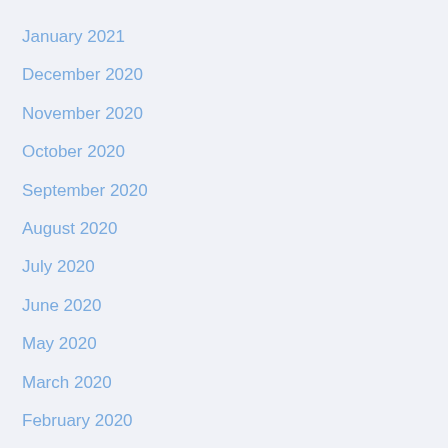January 2021
December 2020
November 2020
October 2020
September 2020
August 2020
July 2020
June 2020
May 2020
March 2020
February 2020
December 2019
September 2019
March 2019